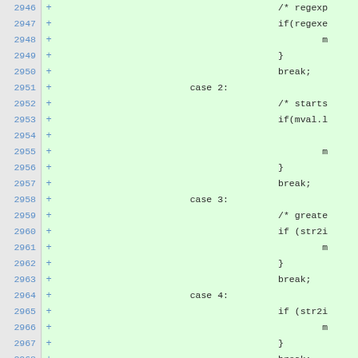[Figure (screenshot): Code diff view showing lines 2946-2970 of a source file. All lines are marked as added (green background) with '+' signs. The code shows a switch statement with cases 2, 3, and 4, each containing comments and conditional logic with break statements.]